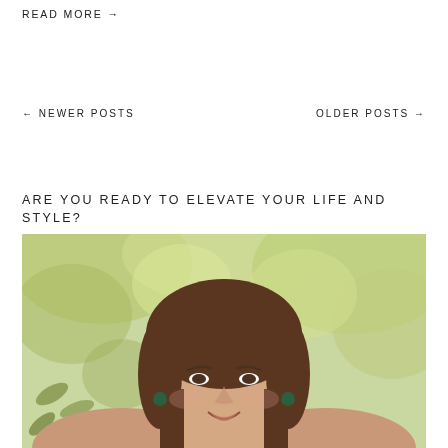READ MORE →
← NEWER POSTS
OLDER POSTS →
ARE YOU READY TO ELEVATE YOUR LIFE AND STYLE?
[Figure (photo): Portrait photo of a smiling woman with brown hair, wearing earrings, in front of a blurred green outdoor background with bokeh foliage.]